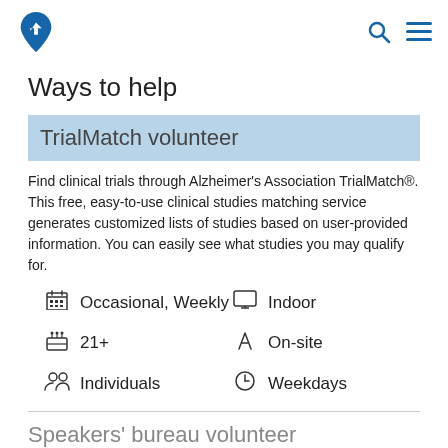Ways to help — Navigation header with logo, search and menu icons
Ways to help
TrialMatch volunteer
Find clinical trials through Alzheimer's Association TrialMatch®. This free, easy-to-use clinical studies matching service generates customized lists of studies based on user-provided information. You can easily see what studies you may qualify for.
Occasional, Weekly
Indoor
21+
On-site
Individuals
Weekdays
Speakers' bureau volunteer
Provide presentations about Alzheimer's, other dementias and memory loss as well as the Alzheimer's Association to audiences including senior centers, health fair attendees, community organizations, businesses, professionals and schools.